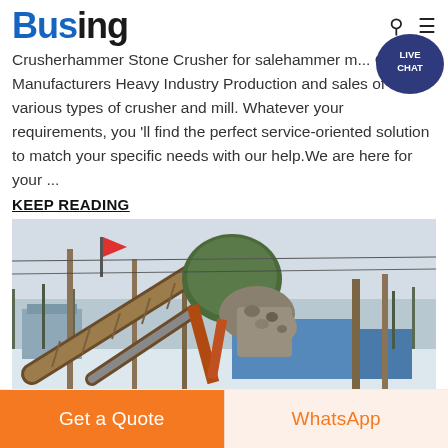Busing
Crusherhammer Stone Crusher for salehammer m... Crusher Manufacturers Heavy Industry Production and sales of various types of crusher and mill. Whatever your requirements, you 'll find the perfect service-oriented solution to match your specific needs with our help.We are here for your ...
KEEP READING
[Figure (photo): Industrial stone crusher / mining equipment at a worksite, showing conveyor belts, crushing machinery, and a pile of aggregate material being processed. Red flag visible in background. Winter/snowy conditions.]
Get a Quote
WhatsApp